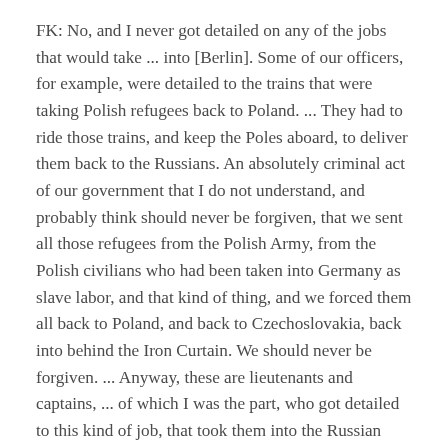FK: No, and I never got detailed on any of the jobs that would take ... into [Berlin]. Some of our officers, for example, were detailed to the trains that were taking Polish refugees back to Poland. ... They had to ride those trains, and keep the Poles aboard, to deliver them back to the Russians. An absolutely criminal act of our government that I do not understand, and probably think should never be forgiven, that we sent all those refugees from the Polish Army, from the Polish civilians who had been taken into Germany as slave labor, and that kind of thing, and we forced them all back to Poland, and back to Czechoslovakia, back into behind the Iron Curtain. We should never be forgiven. ... Anyway, these are lieutenants and captains, ... of which I was the part, who got detailed to this kind of job, that took them into the Russian zone. I never ... did anything like that. So, I had no contact with them.
KP: Did you ever have any contact with displaced persons?